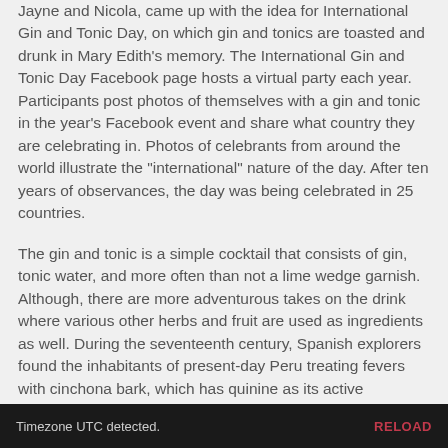Jayne and Nicola, came up with the idea for International Gin and Tonic Day, on which gin and tonics are toasted and drunk in Mary Edith's memory. The International Gin and Tonic Day Facebook page hosts a virtual party each year. Participants post photos of themselves with a gin and tonic in the year's Facebook event and share what country they are celebrating in. Photos of celebrants from around the world illustrate the "international" nature of the day. After ten years of observances, the day was being celebrated in 25 countries.
The gin and tonic is a simple cocktail that consists of gin, tonic water, and more often than not a lime wedge garnish. Although, there are more adventurous takes on the drink where various other herbs and fruit are used as ingredients as well. During the seventeenth century, Spanish explorers found the inhabitants of present-day Peru treating fevers with cinchona bark, which has quinine as its active ingredient. They brought the bark to Europe to treat malaria and found it
Timezone UTC detected.    RELOAD